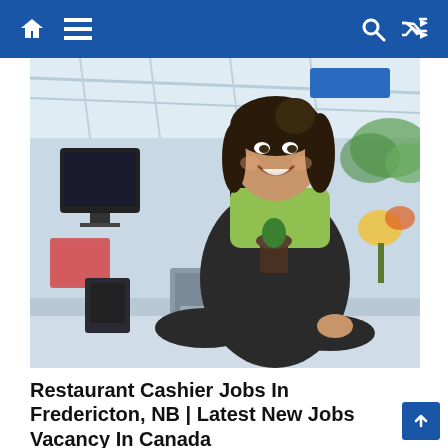Navigation bar with home, menu, search, and shuffle icons
[Figure (photo): Young female cashier in green shirt and black apron smiling at a checkout counter in a garden center/store, with POS monitors and cash register visible in the background]
Restaurant Cashier Jobs In Fredericton, NB | Latest New Jobs Vacancy In Canada
April 6, 2021   @Joblagi.Com